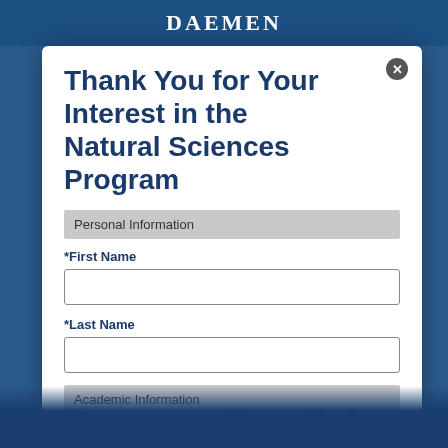DAEMEN
Thank You for Your Interest in the Natural Sciences Program
Personal Information
*First Name
*Last Name
Academic Information
*I will enter as a